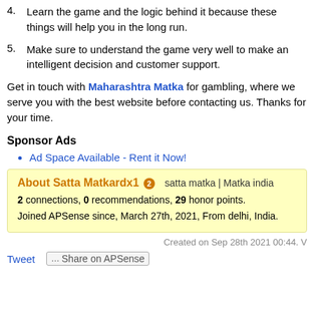4.    Learn the game and the logic behind it because these things will help you in the long run.
5.    Make sure to understand the game very well to make an intelligent decision and customer support.
Get in touch with Maharashtra Matka for gambling, where we serve you with the best website before contacting us. Thanks for your time.
Sponsor Ads
Ad Space Available - Rent it Now!
About Satta Matkardx1  2  satta matka | Matka india
2 connections, 0 recommendations, 29 honor points.
Joined APSense since, March 27th, 2021, From delhi, India.
Created on Sep 28th 2021 00:44. V
Tweet   Share on APSense